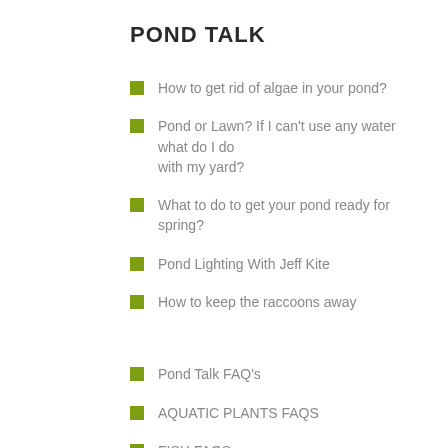POND TALK
How to get rid of algae in your pond?
Pond or Lawn? If I can't use any water what do I do with my yard?
What to do to get your pond ready for spring?
Pond Lighting With Jeff Kite
How to keep the raccoons away
Pond Talk FAQ's
AQUATIC PLANTS FAQS
FISH FAQS
POND ALGAE FAQS
Pond Talk
Aquatic Plants